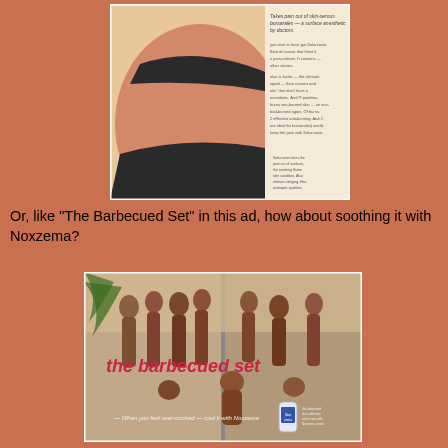[Figure (photo): Vintage advertisement showing a woman with a sunburn in a bikini, with Solarcaine product bottles visible. Text reads 'Takes pain out of skin-serous bursarales — a surface anesthetic by doctors.']
Or, like "The Barbecued Set" in this ad, how about soothing it with Noxzema?
[Figure (photo): Vintage Noxzema magazine advertisement titled 'the barbecued set' showing a group of sunburned people at the beach with tagline 'When you feel over-cooked — cool it with Noxzema' and Noxzema product bottle.]